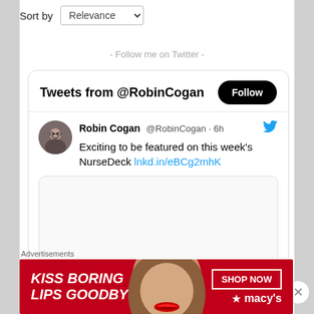Sort by  Relevance
- Follow me on Twitter -
[Figure (screenshot): Twitter widget showing 'Tweets from @RobinCogan' with a Follow button. Tweet by Robin Cogan @RobinCogan 6h: 'Exciting to be featured on this week's NurseDeck lnkd.in/eBCg2mhK'. Below is a preview card box.]
Advertisements
[Figure (photo): Macy's advertisement banner with red background showing a woman's face with red lipstick, text 'KISS BORING LIPS GOODBYE', 'SHOP NOW', and Macy's logo with star.]